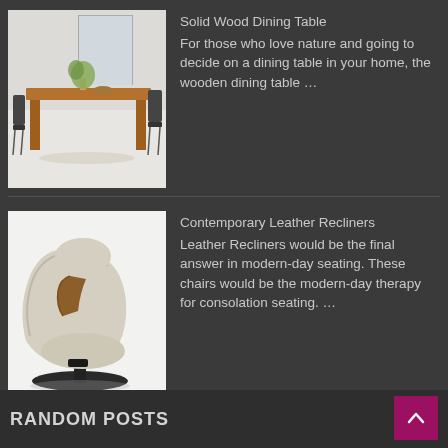[Figure (photo): A solid wood dining table with chairs in a light-colored room]
Solid Wood Dining Table
For those who love nature and going to decide on a dining table in your home, the wooden dining table ...
[Figure (photo): A contemporary leather recliner chair with wooden armrests on a dark circular base]
Contemporary Leather Recliners
Leather Recliners would be the final answer in modern-day seating. These chairs would be the modern-day therapy for consolation seating. ...
RANDOM POSTS